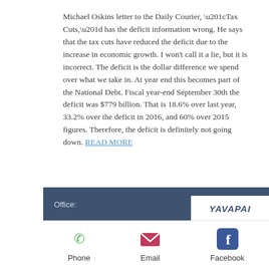Michael Oskins letter to the Daily Courier, “Tax Cuts,” has the deficit information wrong. He says that the tax cuts have reduced the deficit due to the increase in economic growth. I won’t call it a lie, but it is incorrect. The deficit is the dollar difference we spend over what we take in. At year end this becomes part of the National Debt. Fiscal year-end September 30th the deficit was $779 billion. That is 18.6% over last year, 33.2% over the deficit in 2016, and 60% over 2015 figures. Therefore, the deficit is definitely not going down. READ MORE
Office: YAVAPAI
Phone  Email  Facebook